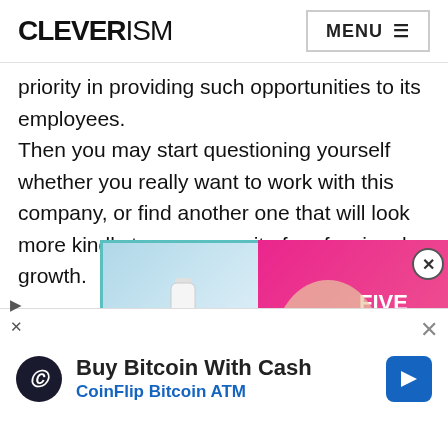CLEVERISM | MENU
priority in providing such opportunities to its employees. Then you may start questioning yourself whether you really want to work with this company, or find another one that will look more kindly to your pursuit of professional growth.
[Figure (infographic): Advertisement banner with beauty product and woman imagery on left, pink diagonal banner reading FIVE EASY INTERVIEW HACKS on right]
[Figure (infographic): Purple strip advertisement below main banner]
We use cookies to ensure that we give you the best experience on our website. If you continue to use this site we will assume that you
[Figure (infographic): Bitcoin advertisement: Buy Bitcoin With Cash - CoinFlip Bitcoin ATM with arrow icon]